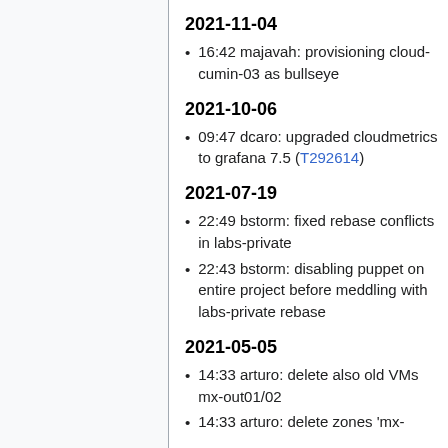2021-11-04
16:42 majavah: provisioning cloud-cumin-03 as bullseye
2021-10-06
09:47 dcaro: upgraded cloudmetrics to grafana 7.5 (T292614)
2021-07-19
22:49 bstorm: fixed rebase conflicts in labs-private
22:43 bstorm: disabling puppet on entire project before meddling with labs-private rebase
2021-05-05
14:33 arturo: delete also old VMs mx-out01/02
14:33 arturo: delete zones 'mx-